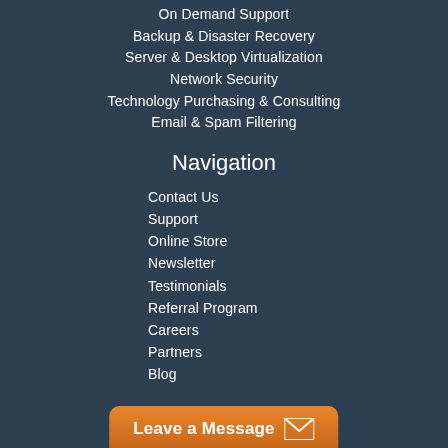On Demand Support
Backup & Disaster Recovery
Server & Desktop Virtualization
Network Security
Technology Purchasing & Consulting
Email & Spam Filtering
Navigation
Contact Us
Support
Online Store
Newsletter
Testimonials
Referral Program
Careers
Partners
Blog
Leave a Message